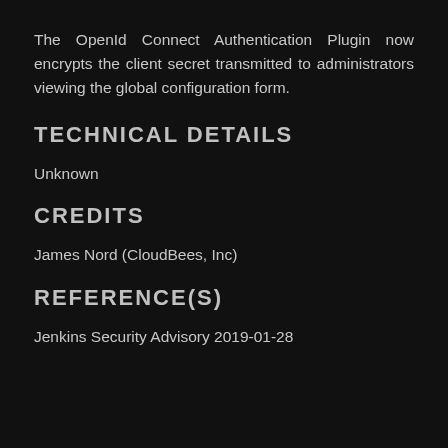The OpenId Connect Authentication Plugin now encrypts the client secret transmitted to administrators viewing the global configuration form.
TECHNICAL DETAILS
Unknown
CREDITS
James Nord (CloudBees, Inc)
REFERENCE(S)
Jenkins Security Advisory 2019-01-28